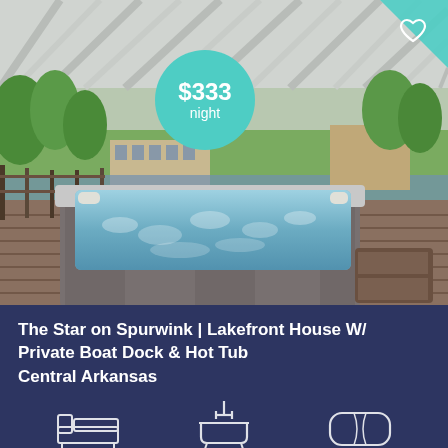[Figure (photo): Outdoor hot tub / swim spa on a wooden deck with lake and green landscape in background, covered by a metal striped roof. Photo for a vacation rental listing.]
The Star on Spurwink | Lakefront House W/ Private Boat Dock & Hot Tub
Central Arkansas
[Figure (infographic): Three amenity icons at bottom: bed icon, bathtub/bathroom icon, pillow/sleep icon]